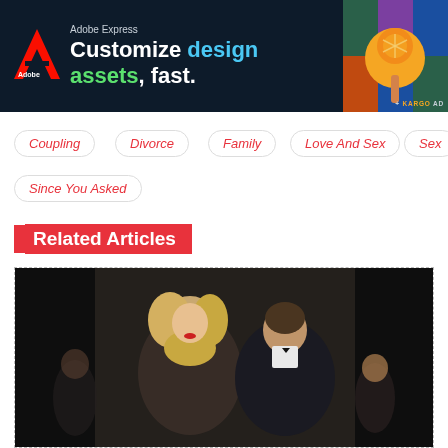[Figure (other): Adobe Express advertisement banner with dark navy background. Adobe logo on left, text 'Adobe Express / Customize design assets, fast.' with 'design' in blue and 'assets' in green. Decorative popsicle/citrus graphic on right with '+ KARGO AD' label.]
Coupling
Divorce
Family
Love And Sex
Sex
Since You Asked
Related Articles
[Figure (photo): Black and white / low-light photograph of a couple (blonde woman and man in tuxedo) at a formal event.]